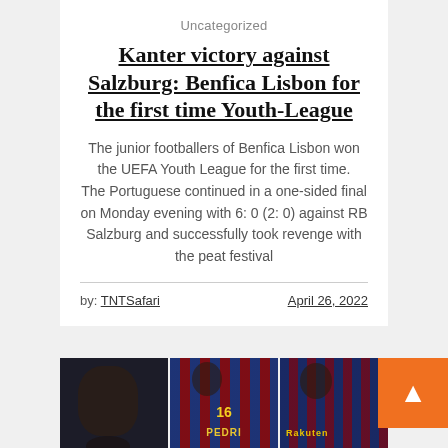Uncategorized
Kanter victory against Salzburg: Benfica Lisbon for the first time Youth-League
The junior footballers of Benfica Lisbon won the UEFA Youth League for the first time. The Portuguese continued in a one-sided final on Monday evening with 6: 0 (2: 0) against RB Salzburg and successfully took revenge with the peat festival
by: TNTSafari    April 26, 2022
[Figure (photo): Three-panel image strip showing football players including close-up faces and players in Barcelona-style jerseys with number 16 (Pedri)]